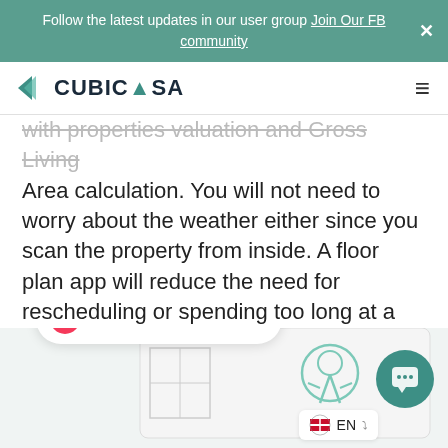Follow the latest updates in our user group Join Our FB community
[Figure (logo): CubiCasa logo with teal arrow/chevron icon and bold text CUBICASA]
with properties valuation and Gross Living Area calculation. You will not need to worry about the weather either since you scan the property from inside. A floor plan app will reduce the need for rescheduling or spending too long at a property while minimizing errors in gathering property data.
[Figure (illustration): Partial illustration of a person or character with floor plan elements, shown at bottom of page]
You have 1 message!